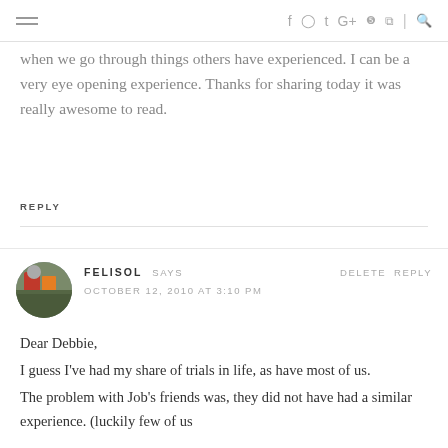Navigation header with social icons
when we go through things others have experienced. I can be a very eye opening experience. Thanks for sharing today it was really awesome to read.
REPLY
FELISOL SAYS  DELETE  REPLY
OCTOBER 12, 2010 AT 3:10 PM
Dear Debbie,
I guess I've had my share of trials in life, as have most of us.
The problem with Job's friends was, they did not have had a similar experience. (luckily few of us